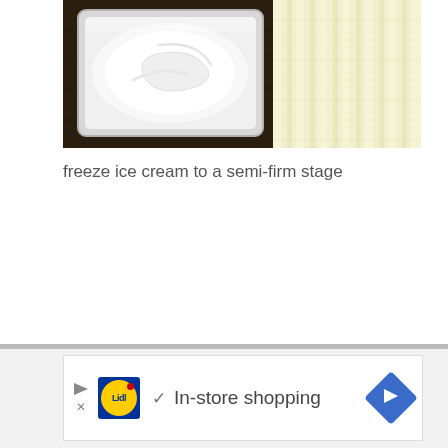[Figure (photo): Photo of ice cream in a rectangular metal/glass tray viewed from above, on a dark wooden surface, with yellow and white striped fabric/textile on the right side]
freeze ice cream to a semi-firm stage
[Figure (other): Advertisement banner for Lidl featuring the Lidl logo, a checkmark, the text 'In-store shopping', and a blue diamond-shaped navigation arrow button]